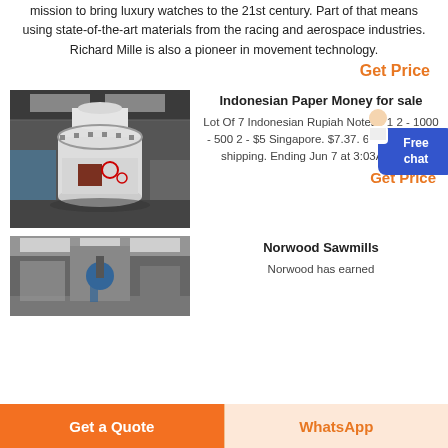mission to bring luxury watches to the 21st century. Part of that means using state-of-the-art materials from the racing and aerospace industries. Richard Mille is also a pioneer in movement technology.
Get Price
[Figure (photo): Large industrial white cylindrical grinding machine in a factory/warehouse setting]
Indonesian Paper Money for sale
Lot Of 7 Indonesian Rupiah Notes - 1 2 - 1000 - 500 2 - $5 Singapore. $7.37. 6 bids. $11.64 shipping. Ending Jun 7 at 3:03AM PDT.
Get Price
[Figure (photo): Industrial machinery in a factory with blue equipment suspended]
Norwood Sawmills
Norwood has earned
Get a Quote
WhatsApp